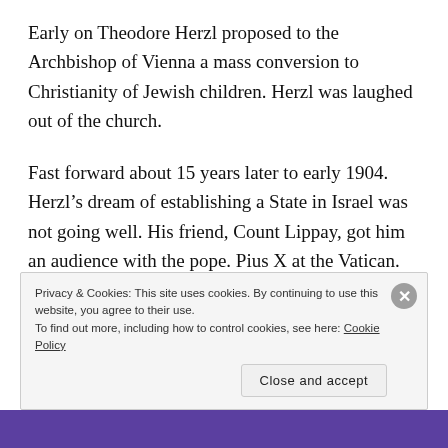Early on Theodore Herzl proposed to the Archbishop of Vienna a mass conversion to Christianity of Jewish children.  Herzl was laughed out of the church.
Fast forward about 15 years later to early 1904.  Herzl's dream of establishing a State in Israel was not going well.  His friend, Count Lippay, got him an audience with the pope. Pius X at the Vatican.  Herzl had wanted an audience with the pope for years to request the Church's help in settling the Jews in Eretz Yisroel.  Herzl was told by his friend that protocol is to kiss the
Privacy & Cookies: This site uses cookies. By continuing to use this website, you agree to their use.
To find out more, including how to control cookies, see here: Cookie Policy
Close and accept